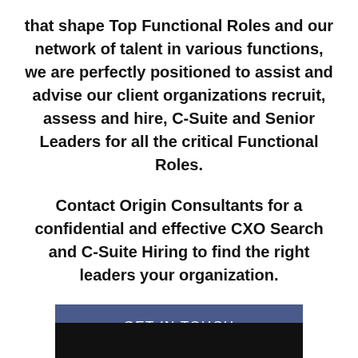that shape Top Functional Roles and our network of talent in various functions, we are perfectly positioned to assist and advise our client organizations recruit, assess and hire, C-Suite and Senior Leaders for all the critical Functional Roles.
Contact Origin Consultants for a confidential and effective CXO Search and C-Suite Hiring to find the right leaders your organization.
GET IN TOUCH